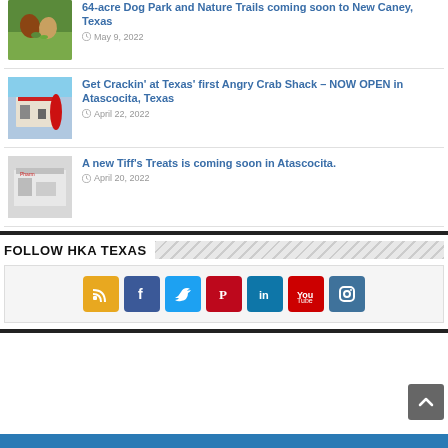64-acre Dog Park and Nature Trails coming soon to New Caney, Texas — May 9, 2022
Get Crackin' at Texas' first Angry Crab Shack – NOW OPEN in Atascocita, Texas — April 22, 2022
A new Tiff's Treats is coming soon in Atascocita. — April 20, 2022
FOLLOW HKA TEXAS
[Figure (infographic): Social media icons row: RSS (gold/yellow), Facebook (blue), Twitter (light blue), Pinterest (red), LinkedIn (teal), YouTube (red with play), Instagram (blue/purple)]